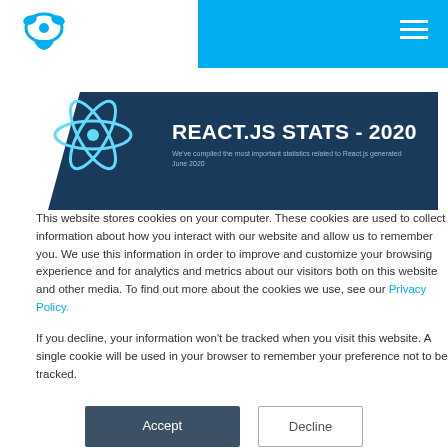MAMP header with logo and navigation
[Figure (illustration): MAMP elephant logo in blue]
[Figure (illustration): React.js atom logo in light blue]
REACT.JS STATS - 2020
We've compiled the most important statistics related to React.js generated June 2020
This website stores cookies on your computer. These cookies are used to collect information about how you interact with our website and allow us to remember you. We use this information in order to improve and customize your browsing experience and for analytics and metrics about our visitors both on this website and other media. To find out more about the cookies we use, see our Privacy Policy.
If you decline, your information won't be tracked when you visit this website. A single cookie will be used in your browser to remember your preference not to be tracked.
Accept | Decline